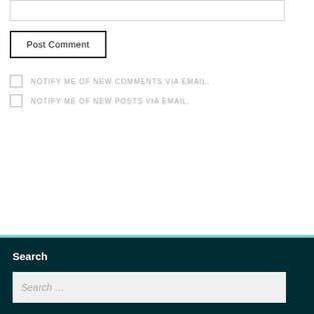[Figure (screenshot): A textarea input box (form field) partially visible at the top of the page, with a light gray border.]
Post Comment
NOTIFY ME OF NEW COMMENTS VIA EMAIL.
NOTIFY ME OF NEW POSTS VIA EMAIL.
Search
Search ...